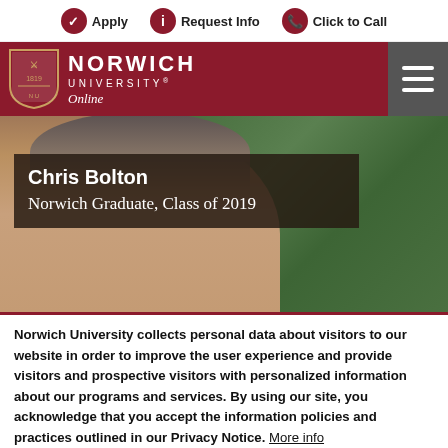Apply | Request Info | Click to Call
[Figure (logo): Norwich University Online logo with shield emblem on dark red background with hamburger menu icon]
[Figure (photo): Close-up photo of Chris Bolton, a middle-aged man with grey hair, with dark overlay text box showing 'Chris Bolton / Norwich Graduate, Class of 2019'. Background is green foliage.]
Norwich University collects personal data about visitors to our website in order to improve the user experience and provide visitors and prospective visitors with personalized information about our programs and services. By using our site, you acknowledge that you accept the information policies and practices outlined in our Privacy Notice. More info
Agree and Dismiss   Decline